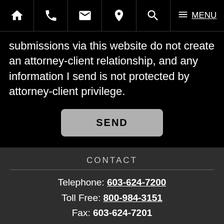Navigation bar with home, phone, email, location, search, menu icons and MENU label
submissions via this website do not create an attorney-client relationship, and any information I send is not protected by attorney-client privilege.
SEND
CONTACT
Telephone: 603-624-7200
Toll Free: 800-984-3151
Fax: 603-624-7201
LOCATION
87 Middle St
Manchester, NH 03101